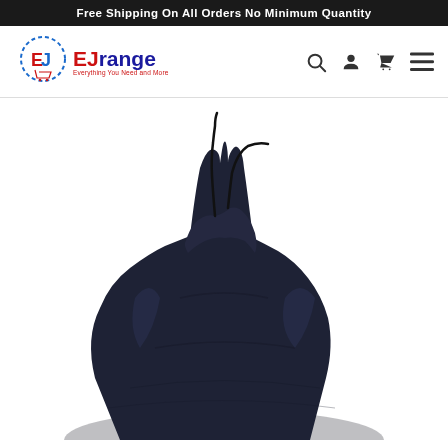Free Shipping On All Orders No Minimum Quantity
[Figure (logo): EJrange logo — circular icon with E and J letters in red and blue, with tagline 'Everything You Need and More']
[Figure (photo): Close-up photo of a dark navy blue seat cover or bag with two black cord/antenna protrusions at the top, on a white background]